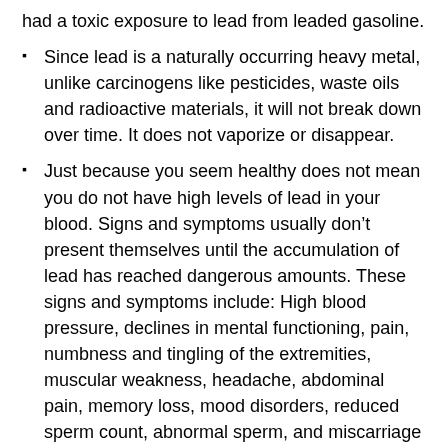had a toxic exposure to lead from leaded gasoline.
Since lead is a naturally occurring heavy metal, unlike carcinogens like pesticides, waste oils and radioactive materials, it will not break down over time. It does not vaporize or disappear.
Just because you seem healthy does not mean you do not have high levels of lead in your blood. Signs and symptoms usually don’t present themselves until the accumulation of lead has reached dangerous amounts. These signs and symptoms include: High blood pressure, declines in mental functioning, pain, numbness and tingling of the extremities, muscular weakness, headache, abdominal pain, memory loss, mood disorders, reduced sperm count, abnormal sperm, and miscarriage or premature birth in pregnant women.
Treatment for lead poisoning consists of treatment for symptoms and the use of